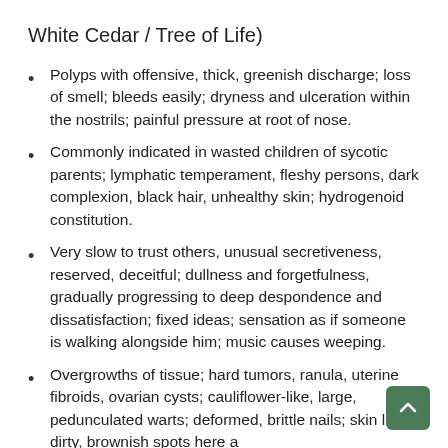White Cedar / Tree of Life)
Polyps with offensive, thick, greenish discharge; loss of smell; bleeds easily; dryness and ulceration within the nostrils; painful pressure at root of nose.
Commonly indicated in wasted children of sycotic parents; lymphatic temperament, fleshy persons, dark complexion, black hair, unhealthy skin; hydrogenoid constitution.
Very slow to trust others, unusual secretiveness, reserved, deceitful; dullness and forgetfulness, gradually progressing to deep despondence and dissatisfaction; fixed ideas; sensation as if someone is walking alongside him; music causes weeping.
Overgrowths of tissue; hard tumors, ranula, uterine fibroids, ovarian cysts; cauliflower-like, large, pedunculated warts; deformed, brittle nails; skin looks dirty, brownish spots here a